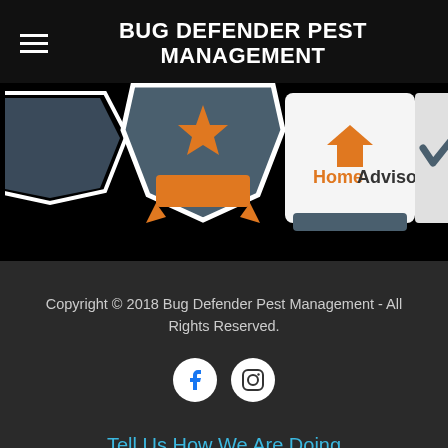BUG DEFENDER PEST MANAGEMENT
[Figure (infographic): Horizontal strip of certification/award badges including HomeAdvisor badge, shield-shaped awards with orange ribbon/star accents, and a checkmark badge, on a black background.]
Copyright © 2018 Bug Defender Pest Management - All Rights Reserved.
[Figure (infographic): Social media icons: Facebook circle icon and Instagram circle icon, white on dark background]
Tell Us How We Are Doing